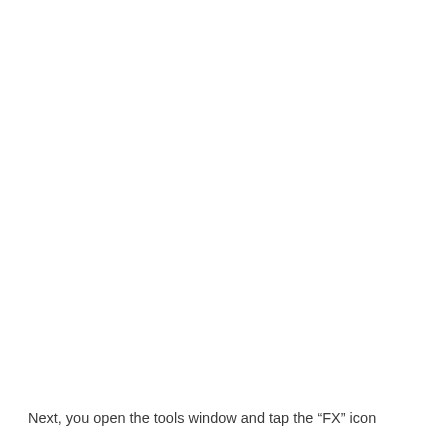Next, you open the tools window and tap the “FX” icon